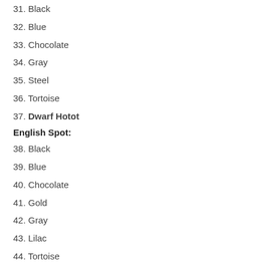31. Black
32. Blue
33. Chocolate
34. Gray
35. Steel
36. Tortoise
37. Dwarf Hotot
English Spot:
38. Black
39. Blue
40. Chocolate
41. Gold
42. Gray
43. Lilac
44. Tortoise
Flemish Giant:
45. Black
46. Blue
47. Fawn
48. Light Gray